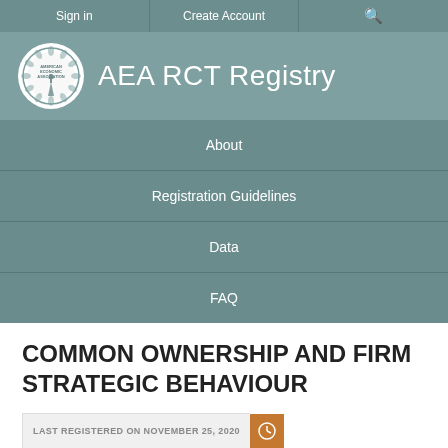Sign in | Create Account | Search
[Figure (logo): American Economic Association circular logo with wreath and lighthouse, next to text 'AEA RCT Registry']
About
Registration Guidelines
Data
FAQ
COMMON OWNERSHIP AND FIRM STRATEGIC BEHAVIOUR
LAST REGISTERED ON NOVEMBER 25, 2020
VIEW TRIAL HISTORY >